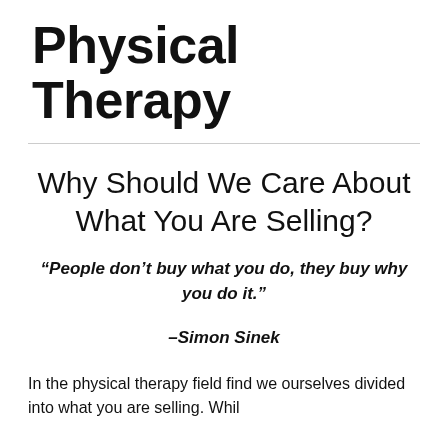Physical Therapy
Why Should We Care About What You Are Selling?
“People don’t buy what you do, they buy why you do it.”
–Simon Sinek
In the physical therapy field find we ourselves divided into what you are selling. Whil